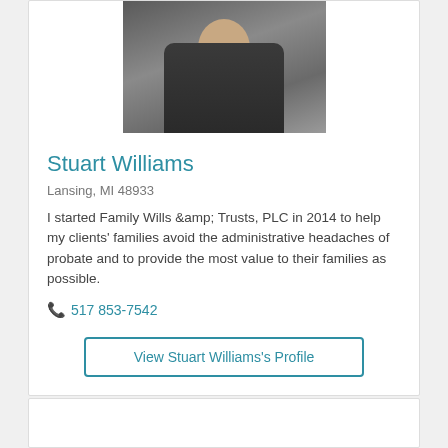[Figure (photo): Professional headshot of Stuart Williams in a dark suit with striped tie]
Stuart Williams
Lansing, MI 48933
I started Family Wills &amp; Trusts, PLC in 2014 to help my clients' families avoid the administrative headaches of probate and to provide the most value to their families as possible.
517 853-7542
View Stuart Williams's Profile